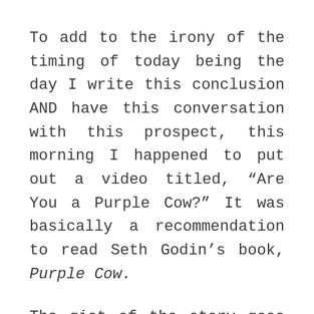To add to the irony of the timing of today being the day I write this conclusion AND have this conversation with this prospect, this morning I happened to put out a video titled, “Are You a Purple Cow?” It was basically a recommendation to read Seth Godin’s book, Purple Cow.
The gist of the story goes like this: Nothing is special about a brown cow. You see them all the time. Especially when you’re on a long driving trip, you see hundreds, if not thousands, of brown cows. And, the more you see, the less you pay attention to